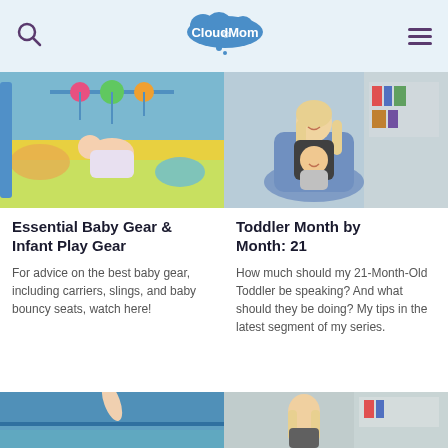CloudMom
[Figure (photo): Baby lying on colorful play mat with hanging toys]
[Figure (photo): Smiling woman holding a laughing toddler in a nursery setting]
Essential Baby Gear & Infant Play Gear
Toddler Month by Month: 21
For advice on the best baby gear, including carriers, slings, and baby bouncy seats, watch here!
How much should my 21-Month-Old Toddler be speaking? And what should they be doing? My tips in the latest segment of my series.
[Figure (photo): Partial view of beach scene with person]
[Figure (photo): Partial view of woman in nursery setting]